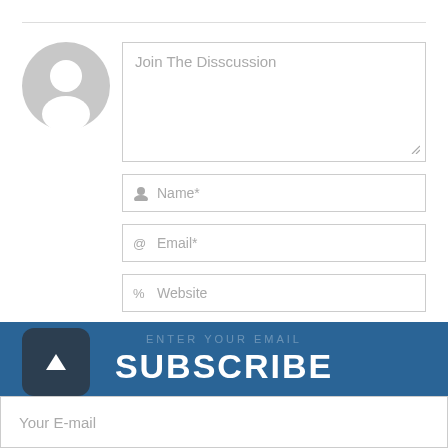[Figure (illustration): Gray circular avatar icon with person silhouette]
Join The Disscussion
Name*
Email*
Website
Post Comment
SUBSCRIBE
Your E-mail